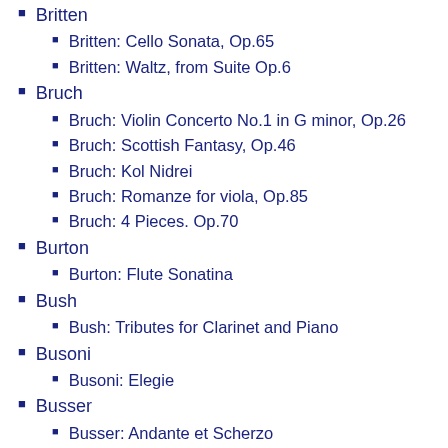Britten
Britten: Cello Sonata, Op.65
Britten: Waltz, from Suite Op.6
Bruch
Bruch: Violin Concerto No.1 in G minor, Op.26
Bruch: Scottish Fantasy, Op.46
Bruch: Kol Nidrei
Bruch: Romanze for viola, Op.85
Bruch: 4 Pieces. Op.70
Burton
Burton: Flute Sonatina
Bush
Bush: Tributes for Clarinet and Piano
Busoni
Busoni: Elegie
Busser
Busser: Andante et Scherzo
Busser: Prelude and Scherzo
Cabuzac